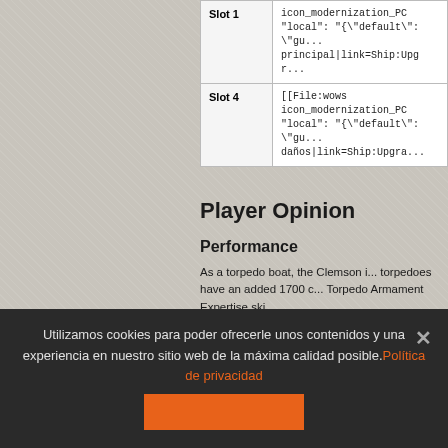| Slot | Content |
| --- | --- |
| Slot 1 | icon_modernization_PC...
"local": "{\"default\": \"gu...
principal|link=Ship:Upgr... |
| Slot 4 | [[File:wows icon_modernization_PC...
"local": "{\"default\": \"gu...
daños|link=Ship:Upgra... |
Player Opinion
Performance
As a torpedo boat, the Clemson i... torpedoes have an added 1700 c... Torpedo Armament Expertise ski...
Utilizamos cookies para poder ofrecerle unos contenidos y una experiencia en nuestro sitio web de la máxima calidad posible. Política de privacidad